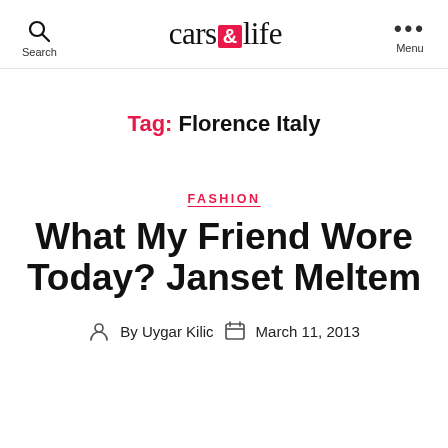cars & life — Search | Menu
Tag: Florence Italy
FASHION
What My Friend Wore Today? Janset Meltem
By Uygar Kilic   March 11, 2013